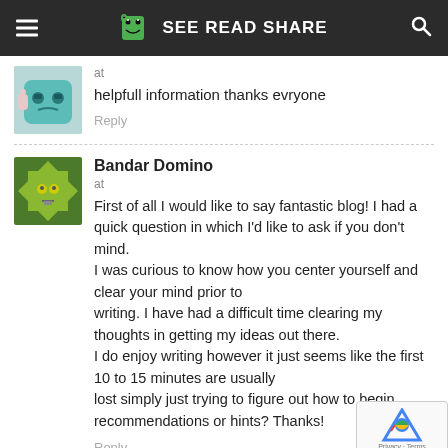SEE READ SHARE
at
helpfull information thanks evryone
Reply
Bandar Domino
at
First of all I would like to say fantastic blog! I had a quick question in which I'd like to ask if you don't mind. I was curious to know how you center yourself and clear your mind prior to writing. I have had a difficult time clearing my thoughts in getting my ideas out there. I do enjoy writing however it just seems like the first 10 to 15 minutes are usually lost simply just trying to figure out how to begin. recommendations or hints? Thanks!
Reply